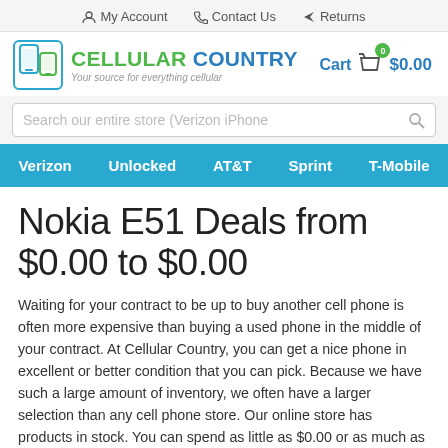My Account   Contact Us   Returns
[Figure (logo): Cellular Country logo with phone icon and tagline: Your source for everything cellular. Cart showing $0.00 with 0 items.]
[Figure (screenshot): Search bar with placeholder text: Search our entire store (Verizon iPhone]
Verizon   Unlocked   AT&T   Sprint   T-Mobile
Nokia E51 Deals from $0.00 to $0.00
Waiting for your contract to be up to buy another cell phone is often more expensive than buying a used phone in the middle of your contract. At Cellular Country, you can get a nice phone in excellent or better condition that you can pick. Because we have such a large amount of inventory, we often have a larger selection than any cell phone store. Our online store has products in stock. You can spend as little as $0.00 or as much as